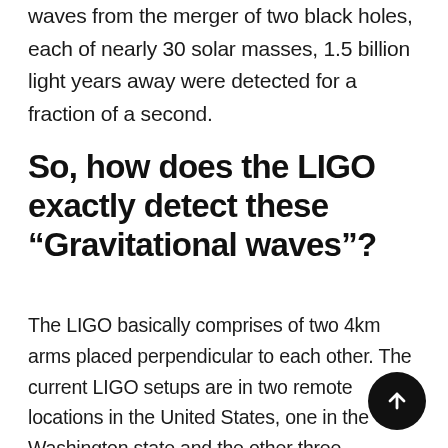waves from the merger of two black holes, each of nearly 30 solar masses, 1.5 billion light years away were detected for a fraction of a second.
So, how does the LIGO exactly detect these “Gravitational waves”?
The LIGO basically comprises of two 4km arms placed perpendicular to each other. The current LIGO setups are in two remote locations in the United States, one in the Washington state and the other three